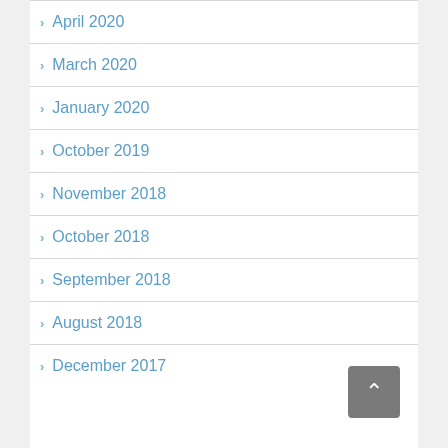April 2020
March 2020
January 2020
October 2019
November 2018
October 2018
September 2018
August 2018
December 2017